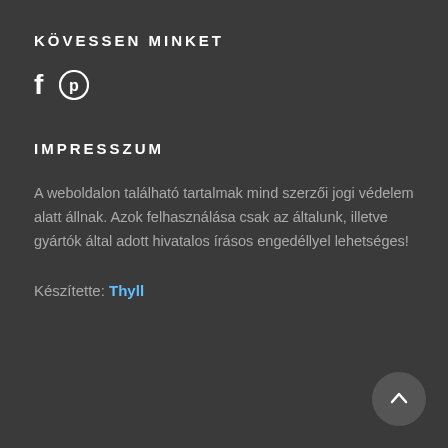KÖVESSEN MINKET
[Figure (illustration): Social media icons: Facebook (f) and Pinterest (circle with P) in white]
IMPRESSZUM
A weboldalon található tartalmak mind szerzői jogi védelem alatt állnak. Azok felhasználása csak az általunk, illetve gyártók által adott hivatalos írásos engedéllyel lehetséges!
Készítette: Thyll